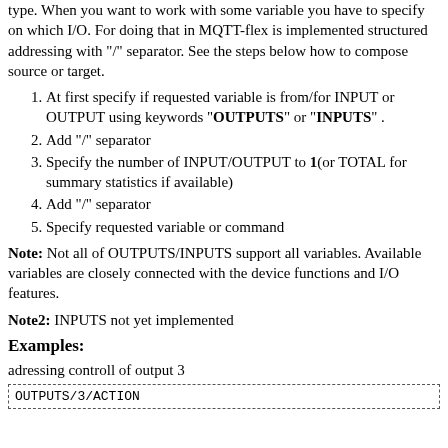type. When you want to work with some variable you have to specify on which I/O. For doing that in MQTT-flex is implemented structured addressing with "/" separator. See the steps below how to compose source or target.
At first specify if requested variable is from/for INPUT or OUTPUT using keywords "OUTPUTS" or "INPUTS" .
Add "/" separator
Specify the number of INPUT/OUTPUT to 1(or TOTAL for summary statistics if available)
Add "/" separator
Specify requested variable or command
Note: Not all of OUTPUTS/INPUTS support all variables. Available variables are closely connected with the device functions and I/O features.
Note2: INPUTS not yet implemented
Examples:
adressing controll of output 3
OUTPUTS/3/ACTION